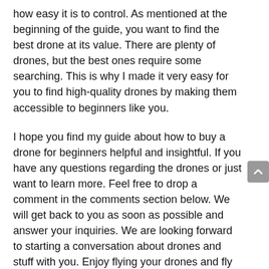how easy it is to control. As mentioned at the beginning of the guide, you want to find the best drone at its value. There are plenty of drones, but the best ones require some searching. This is why I made it very easy for you to find high-quality drones by making them accessible to beginners like you.
I hope you find my guide about how to buy a drone for beginners helpful and insightful. If you have any questions regarding the drones or just want to learn more. Feel free to drop a comment in the comments section below. We will get back to you as soon as possible and answer your inquiries. We are looking forward to starting a conversation about drones and stuff with you. Enjoy flying your drones and fly smart!